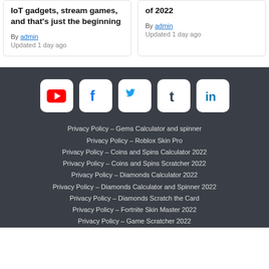IoT gadgets, stream games, and that's just the beginning
By admin
Updated 1 day ago
of 2022
By admin
Updated 1 day ago
[Figure (infographic): Row of 5 social media icons: YouTube (red), Facebook (blue), Twitter (blue), Tumblr (dark blue), LinkedIn (blue), each in white rounded square buttons on dark background]
Privacy Policy – Gems Calculator and spinner
Privacy Policy – Roblox Skin Pro
Privacy Policy – Coins and Spins Calculator 2022
Privacy Policy – Coins and Spins Scratcher 2022
Privacy Policy – Diamonds Calculator 2022
Privacy Policy – Diamonds Calculator and Spinner 2022
Privacy Policy – Diamonds Scratch the Card
Privacy Policy – Fortnite Skin Master 2022
Privacy Policy – Game Scratcher 2022